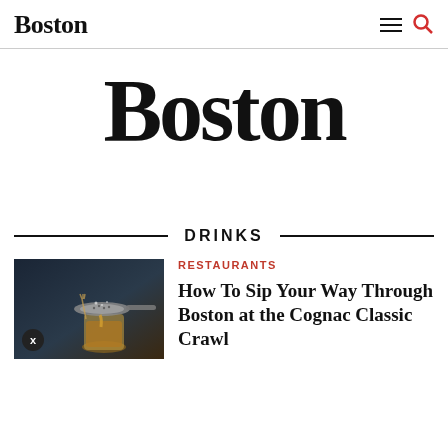Boston
Boston
DRINKS
[Figure (photo): Close-up photo of a cocktail being strained through a bar strainer into a glass, with warm golden/amber tones suggesting cognac or whiskey]
RESTAURANTS
How To Sip Your Way Through Boston at the Cognac Classic Crawl